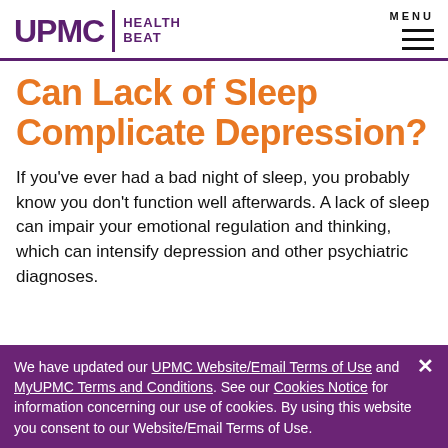UPMC | HEALTH BEAT   MENU
Can Lack of Sleep Complicate Depression?
If you've ever had a bad night of sleep, you probably know you don't function well afterwards. A lack of sleep can impair your emotional regulation and thinking, which can intensify depression and other psychiatric diagnoses.
We have updated our UPMC Website/Email Terms of Use and MyUPMC Terms and Conditions. See our Cookies Notice for information concerning our use of cookies. By using this website you consent to our Website/Email Terms of Use.